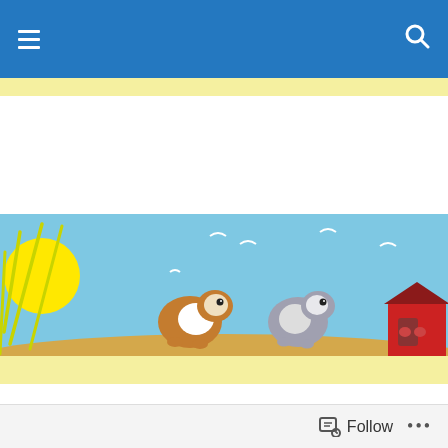≡  🔍
[Figure (illustration): Children's book illustration showing two cartoon guinea pigs (one brown and white, one grey and white) jumping or floating against a light blue sky background with a bright yellow sun on the left, white seagull shapes, and a sandy ground at the bottom. A red hutch or box with guinea pig graphics is visible on the right side.]
Wasn't Me!
Today Mummy had the cheek to make an accusation which shocked me. It was the afternoon, a little after four, Mummy had taken Nibbles out to give him a piggy
Follow  •••